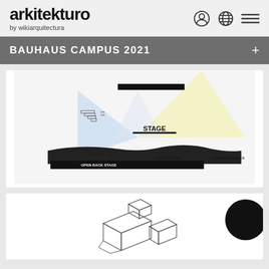arkitekturo by wikiarquitectura
BAUHAUS CAMPUS 2021
[Figure (engineering-diagram): Architectural section/elevation diagram of a stage and venue showing: STAGE area at top center with steps/seating, OPEN BACK STAGE label at bottom left (black bar), ACTIVE STAGE label at bottom center, EVENT SPACE label at bottom, +++MAIN ENTRANCE label at bottom right. Light/beam effects shown in blue and yellow emanating from stage.]
[Figure (engineering-diagram): Architectural axonometric/isometric drawing of building components showing rectangular block forms in outline style.]